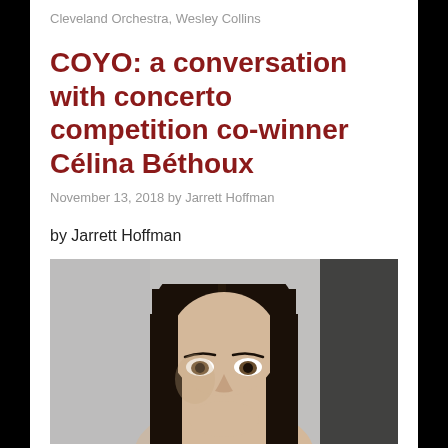Cleveland Orchestra, Wesley Collins
COYO: a conversation with concerto competition co-winner Célina Béthoux
November 13, 2018 by Jarrett Hoffman
by Jarrett Hoffman
[Figure (photo): Portrait photo of Célina Béthoux, a young woman with long dark hair, looking directly at camera, neutral background with dark element on right side.]